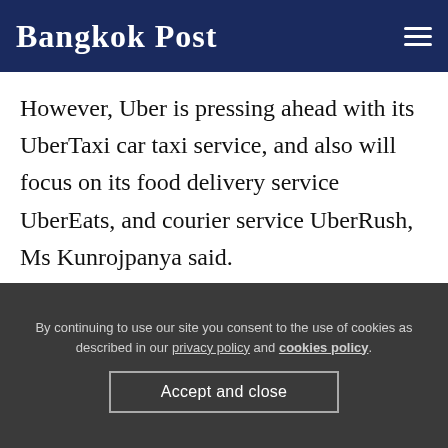Bangkok Post
However, Uber is pressing ahead with its UberTaxi car taxi service, and also will focus on its food delivery service UberEats, and courier service UberRush, Ms Kunrojpanya said.
She denied allegations Uber's service was draining jobs from Thais, saying 80% of the income from the service is shared among Thais. The service also creates jobs for Thais.
By continuing to use our site you consent to the use of cookies as described in our privacy policy and cookies policy.
Accept and close